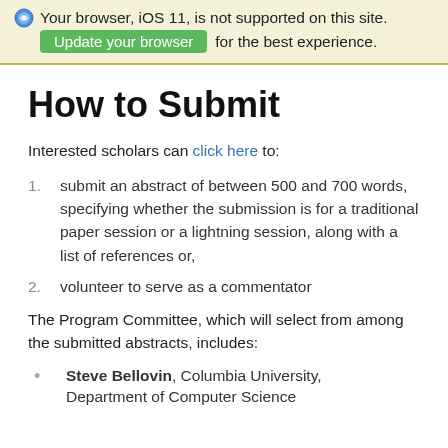Your browser, iOS 11, is not supported on this site. Update your browser for the best experience.
How to Submit
Interested scholars can click here to:
submit an abstract of between 500 and 700 words, specifying whether the submission is for a traditional paper session or a lightning session, along with a list of references or,
volunteer to serve as a commentator
The Program Committee, which will select from among the submitted abstracts, includes:
Steve Bellovin, Columbia University, Department of Computer Science